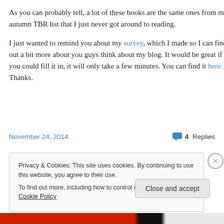As you can probably tell, a lot of these books are the same ones from my autumn TBR list that I just never got around to reading.
I just wanted to remind you about my survey, which I made so I can find out a bit more about you guys think about my blog. It would be great if you could fill it in, it will only take a few minutes. You can find it here. Thanks.
November 24, 2014    4 Replies
Privacy & Cookies: This site uses cookies. By continuing to use this website, you agree to their use. To find out more, including how to control cookies, see here: Cookie Policy